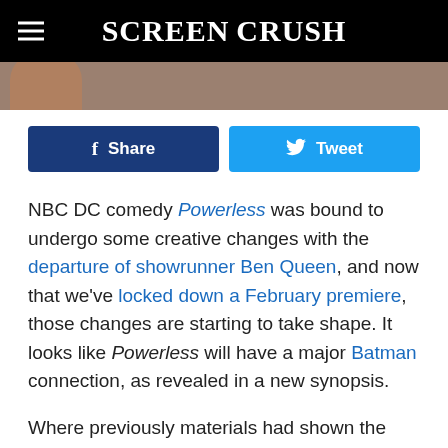Screen Crush
[Figure (photo): Partial photo of a person, cropped at top of page below header]
Share   Tweet
NBC DC comedy Powerless was bound to undergo some creative changes with the departure of showrunner Ben Queen, and now that we've locked down a February premiere, those changes are starting to take shape. It looks like Powerless will have a major Batman connection, as revealed in a new synopsis.
Where previously materials had shown the characters of Powerless working at a “Retcon Insurance,” an updated synopsis for the DC comedy reveals that Vanessa Hudgens’ Emily Locke now works at a subsidiary of Wayne Enterprises, and seems to have taken on more significant...